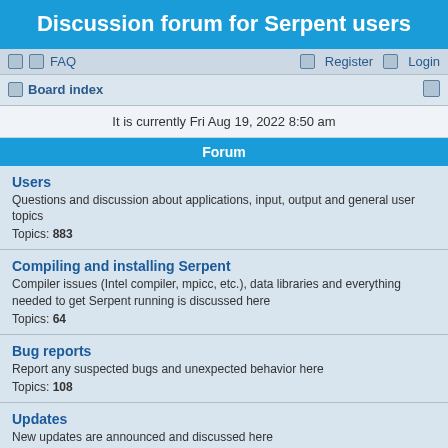Discussion forum for Serpent users
FAQ   Register   Login
Board index
It is currently Fri Aug 19, 2022 8:50 am
Forum
Users
Questions and discussion about applications, input, output and general user topics
Topics: 883
Compiling and installing Serpent
Compiler issues (Intel compiler, mpicc, etc.), data libraries and everything needed to get Serpent running is discussed here
Topics: 64
Bug reports
Report any suspected bugs and unexpected behavior here
Topics: 108
Updates
New updates are announced and discussed here
Topics: 12
Methods
Discussion on physics, models and calculation methods
Topics: 88